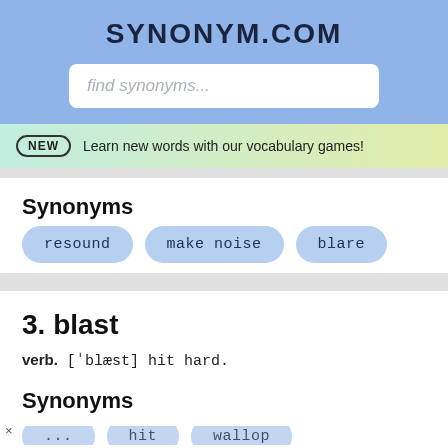SYNONYM.COM
find synonyms...
NEW  Learn new words with our vocabulary games!
Synonyms
resound
make noise
blare
3. blast
verb. ["blæst"] hit hard.
Synonyms